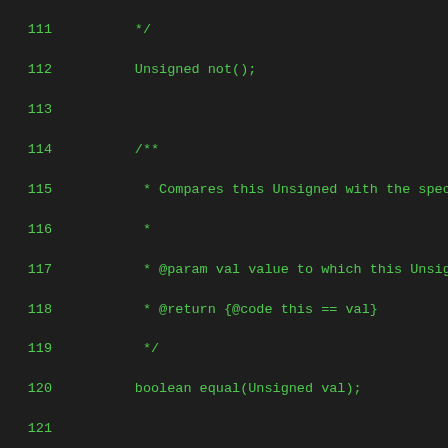Code listing lines 111-139, Java interface methods with Javadoc comments for Unsigned type comparisons: not(), equal(Unsigned val), notEqual(Unsigned val), belowThan(Unsigned val), and start of another comparison method.